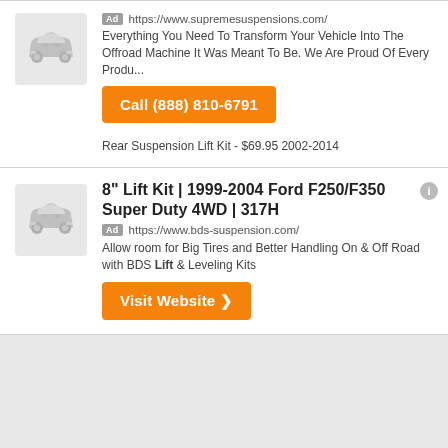[Figure (illustration): Gray car/vehicle silhouette icon (front view) for ad placeholder]
Ad https://www.supremesuspensions.com/
Everything You Need To Transform Your Vehicle Into The Offroad Machine It Was Meant To Be. We Are Proud Of Every Produ...
Call (888) 810-6791
Rear Suspension Lift Kit - $69.95 2002-2014
8" Lift Kit | 1999-2004 Ford F250/F350 Super Duty 4WD | 317H
[Figure (illustration): Gray car/vehicle silhouette icon (front view) for ad placeholder]
Ad https://www.bds-suspension.com/
Allow room for Big Tires and Better Handling On & Off Road with BDS Lift & Leveling Kits
Visit Website ❯